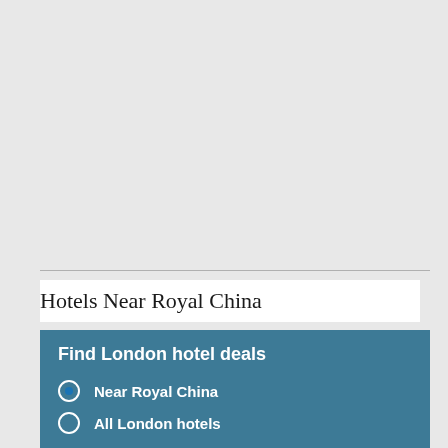Hotels Near Royal China
Find London hotel deals
Near Royal China
All London hotels